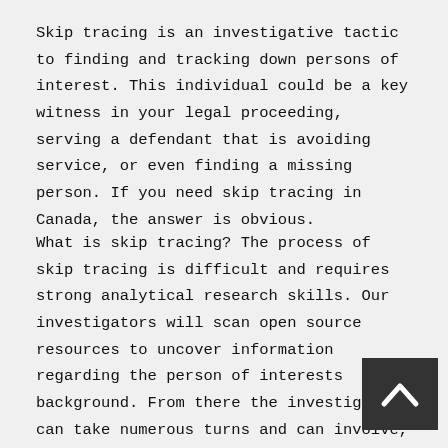Skip tracing is an investigative tactic to finding and tracking down persons of interest. This individual could be a key witness in your legal proceeding, serving a defendant that is avoiding service, or even finding a missing person. If you need skip tracing in Canada, the answer is obvious.
What is skip tracing? The process of skip tracing is difficult and requires strong analytical research skills. Our investigators will scan open source resources to uncover information regarding the person of interests background. From there the investigation can take numerous turns and can involve, interviewing key individuals, looking into private data sources, contacting the authorities, contacting our sources in